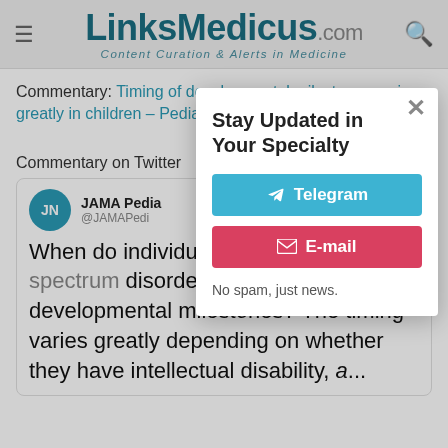LinksMedicus.com — Content Curation & Alerts in Medicine
Commentary: Timing of developmental milestones varies greatly in children... Weekly
Commentary on Twitter
[Figure (screenshot): JAMA Pediatrics tweet: When do individuals with autism spectrum disorder (ASD) attain developmental milestones? The timing varies greatly depending on whether they have intellectual disability, a...]
[Figure (infographic): Modal popup: Stay Updated in Your Specialty with Telegram and E-mail signup buttons. 'No spam, just news.']